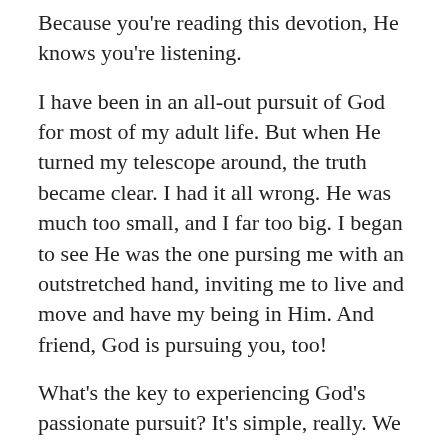Because you're reading this devotion, He knows you're listening.
I have been in an all-out pursuit of God for most of my adult life. But when He turned my telescope around, the truth became clear. I had it all wrong. He was much too small, and I far too big. I began to see He was the one pursing me with an outstretched hand, inviting me to live and move and have my being in Him. And friend, God is pursuing you, too!
What's the key to experiencing God's passionate pursuit? It's simple, really. We